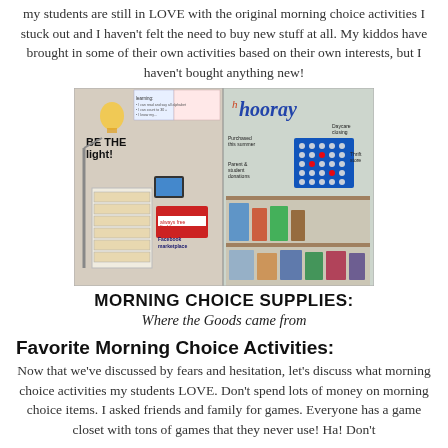my students are still in LOVE with the original morning choice activities I stuck out and I haven't felt the need to buy new stuff at all. My kiddos have brought in some of their own activities based on their own interests, but I haven't bought anything new!
[Figure (photo): Two photos of a classroom morning choice setup. Left photo shows a storage unit with labeled trays, a sign saying BE THE LIGHT, and labels for Facebook marketplace and other sources. Right photo shows a shelf with activities labeled Purchased this summer, Parent & student donations, and Thrift store, with a colorful hooray sign.]
MORNING CHOICE SUPPLIES: Where the Goods came from
Favorite Morning Choice Activities:
Now that we've discussed by fears and hesitation, let's discuss what morning choice activities my students LOVE. Don't spend lots of money on morning choice items. I asked friends and family for games. Everyone has a game closet with tons of games that they never use! Ha! Don't